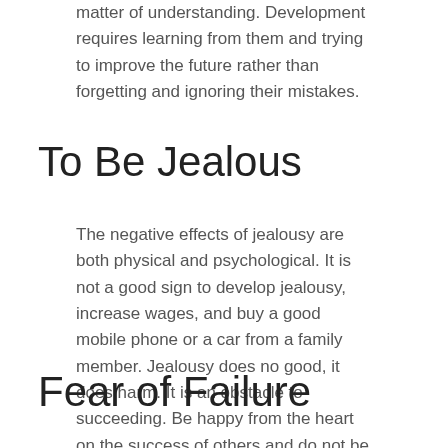matter of understanding. Development requires learning from them and trying to improve the future rather than forgetting and ignoring their mistakes.
To Be Jealous
The negative effects of jealousy are both physical and psychological. It is not a good sign to develop jealousy, increase wages, and buy a good mobile phone or a car from a family member. Jealousy does no good, it does harm. It is an obstacle to succeeding. Be happy from the heart on the success of others and do not be afraid to praise.
Fear of Failure